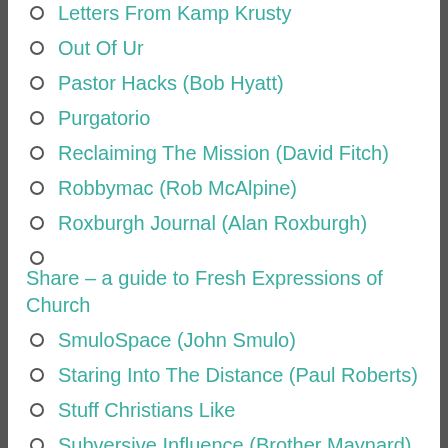Letters From Kamp Krusty
Out Of Ur
Pastor Hacks (Bob Hyatt)
Purgatorio
Reclaiming The Mission (David Fitch)
Robbymac (Rob McAlpine)
Roxburgh Journal (Alan Roxburgh)
Share – a guide to Fresh Expressions of Church
SmuloSpace (John Smulo)
Staring Into The Distance (Paul Roberts)
Stuff Christians Like
Subversive Influence (Brother Maynard)
Tall Skinny Kiwi (Andrew Jones)
The Cartoon Blog (Dave Walker)
The Forgotten Ways (Alan Hirsch)